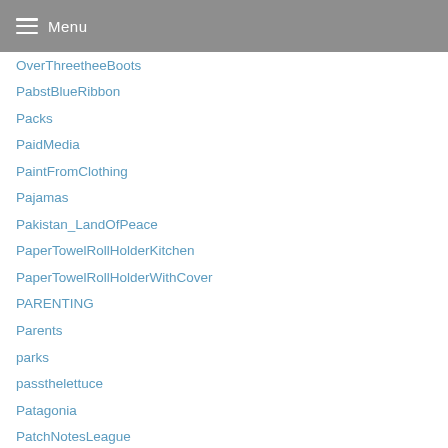Menu
OverThreetheeBoots
PabstBlueRibbon
Packs
PaidMedia
PaintFromClothing
Pajamas
Pakistan_LandOfPeace
PaperTowelRollHolderKitchen
PaperTowelRollHolderWithCover
PARENTING
Parents
parks
passthelettuce
Patagonia
PatchNotesLeague
PatchnotizenLol
PatioAntiquesHamburg